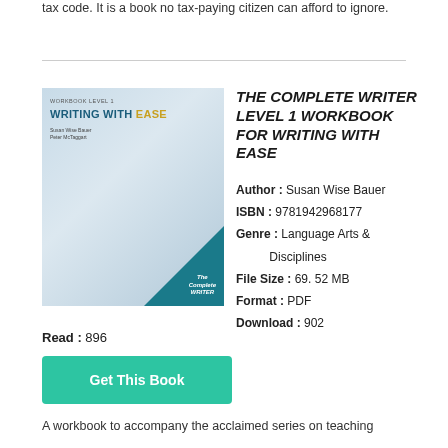tax code. It is a book no tax-paying citizen can afford to ignore.
[Figure (illustration): Book cover for 'The Complete Writer: Writing With Ease Workbook Level 1' by Susan Wise Bauer, showing hands writing, teal triangle in corner with logo]
THE COMPLETE WRITER LEVEL 1 WORKBOOK FOR WRITING WITH EASE
Author : Susan Wise Bauer
ISBN : 9781942968177
Genre : Language Arts & Disciplines
File Size : 69. 52 MB
Format : PDF
Download : 902
Read : 896
Get This Book
A workbook to accompany the acclaimed series on teaching